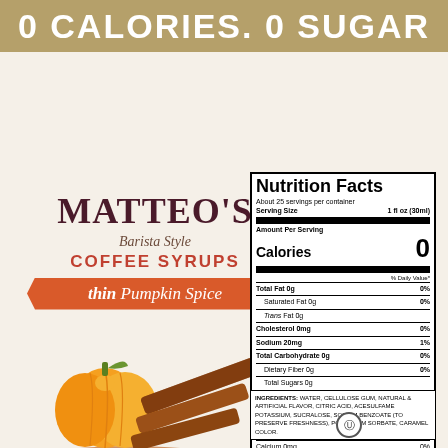0 CALORIES. 0 SUGAR
[Figure (illustration): Matteo's Barista Style Coffee Syrups thin Pumpkin Spice product label with pumpkin and cinnamon sticks illustration]
| Nutrition Facts |  |
| About 25 servings per container |  |
| Serving Size | 1 fl oz (30ml) |
| Calories | 0 |
| Total Fat 0g | 0% |
| Saturated Fat 0g | 0% |
| Trans Fat 0g |  |
| Cholesterol 0mg | 0% |
| Sodium 20mg | 1% |
| Total Carbohydrate 0g | 0% |
| Dietary Fiber 0g | 0% |
| Total Sugars 0g |  |
| Includes 0g Added Sugars | 0% |
| Protein 0g | 0% |
| Vitamin D 0mcg | 0% |
| Calcium 0mg | 0% |
| Iron 0mg | 0% |
| Potassium 10mg | 1% |
INGREDIENTS: WATER, CELLULOSE GUM, NATURAL & ARTIFICIAL FLAVOR, CITRIC ACID, ACESULFAME POTASSIUM, SUCRALOSE, SODIUM BENZOATE (TO PRESERVE FRESHNESS), POTASSIUM SORBATE, CARAMEL COLOR.